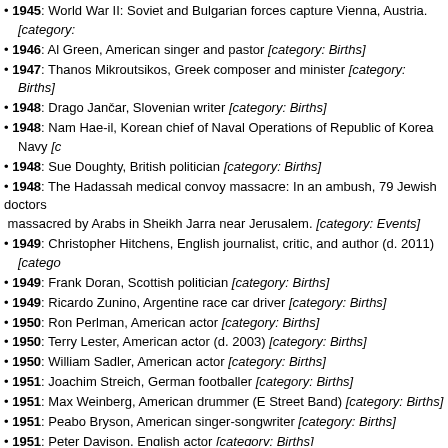1945: World War II: Soviet and Bulgarian forces capture Vienna, Austria. [category: Events]
1946: Al Green, American singer and pastor [category: Births]
1947: Thanos Mikroutsikos, Greek composer and minister [category: Births]
1948: Drago Jančar, Slovenian writer [category: Births]
1948: Nam Hae-il, Korean chief of Naval Operations of Republic of Korea Navy [c...
1948: Sue Doughty, British politician [category: Births]
1948: The Hadassah medical convoy massacre: In an ambush, 79 Jewish doctors massacred by Arabs in Sheikh Jarra near Jerusalem. [category: Events]
1949: Christopher Hitchens, English journalist, critic, and author (d. 2011) [catego...
1949: Frank Doran, Scottish politician [category: Births]
1949: Ricardo Zunino, Argentine race car driver [category: Births]
1950: Ron Perlman, American actor [category: Births]
1950: Terry Lester, American actor (d. 2003) [category: Births]
1950: William Sadler, American actor [category: Births]
1951: Joachim Streich, German footballer [category: Births]
1951: Max Weinberg, American drummer (E Street Band) [category: Births]
1951: Peabo Bryson, American singer-songwriter [category: Births]
1951: Peter Davison, English actor [category: Births]
1952: David Drew, British politician [category: Births]
1952: Erick Avari, British-Indian actor [category: Births]
1952: Ron Dittemore, American space administrator [category: Births]
1953: Dany Laferrière, Canadian novelist [category: Births]
1953: Stephen Byers, British politician [category: Births]
1953: CIA director Allen Dulles launches the mind-control program MKULTRA. [ca...
1954: Barbara Roche, British politician [category: Births]
1954: Jimmy Destri, American musician and songwriter (Blondie) [category: Births]
1954: Niels "Noller" Olsen, Danish singer (Olsen Brothers) [category: Births]
1954: Angus Lewis Macdonald, Canadian politician (b. 1890) [category: Deaths]
1954: Samuel Jones, American athlete (b. 1880) [category: Deaths]
1955: Lupe Pintor, Mexican boxer [category: Births]
1955: Ole von Beust, German politician, 1st Mayor of Hamburg [category: Births]
1955: Steve Camp, American singer and musician [category: Births]